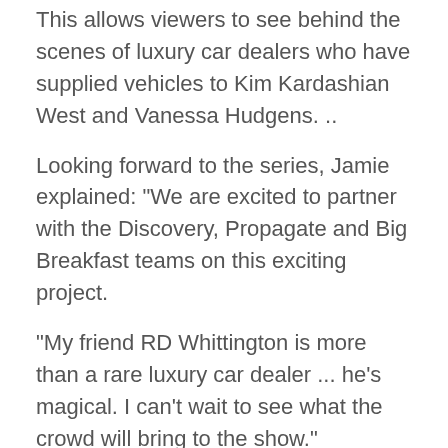This allows viewers to see behind the scenes of luxury car dealers who have supplied vehicles to Kim Kardashian West and Vanessa Hudgens. ..
Looking forward to the series, Jamie explained: "We are excited to partner with the Discovery, Propagate and Big Breakfast teams on this exciting project.
"My friend RD Whittington is more than a rare luxury car dealer ... he's magical. I can't wait to see what the crowd will bring to the show."
RD has worked with many well-known stars in his career, including rappers Ludacris and Travis Scott.